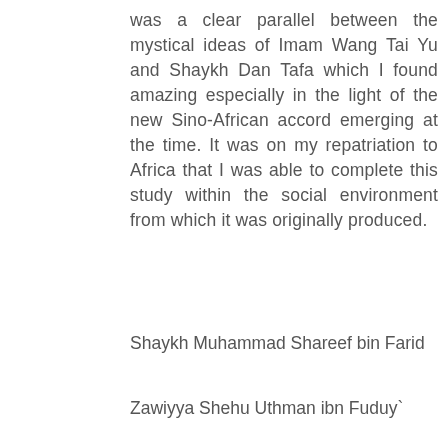was a clear parallel between the mystical ideas of Imam Wang Tai Yu and Shaykh Dan Tafa which I found amazing especially in the light of the new Sino-African accord emerging at the time. It was on my repatriation to Africa that I was able to complete this study within the social environment from which it was originally produced.
Shaykh Muhammad Shareef bin Farid
Zawiyya Shehu Uthman ibn Fuduy`